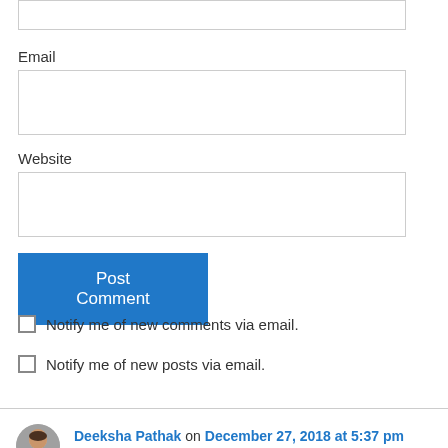Email
Website
Post Comment
Notify me of new comments via email.
Notify me of new posts via email.
Deeksha Pathak on December 27, 2018 at 5:37 pm